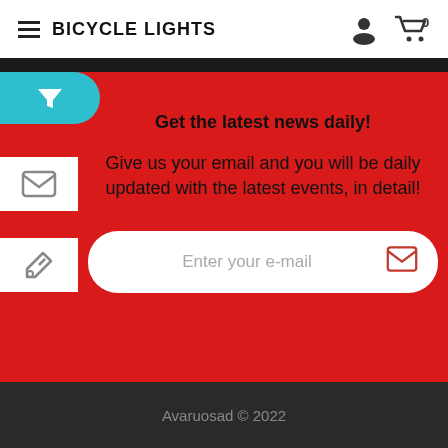BICYCLE LIGHTS
Get the latest news daily!
Give us your email and you will be daily updated with the latest events, in detail!
Enter your e-mail
Avaruosad © 2022